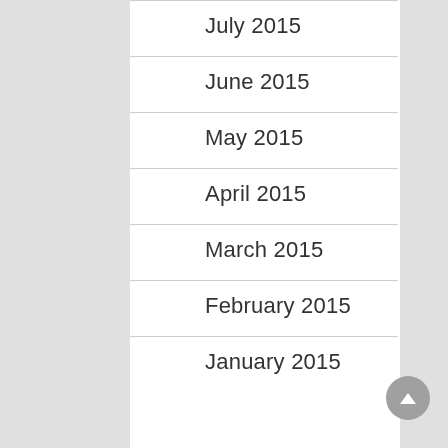July 2015
June 2015
May 2015
April 2015
March 2015
February 2015
January 2015
October 2014
August 2014
June 2014
May 2014
April 2014